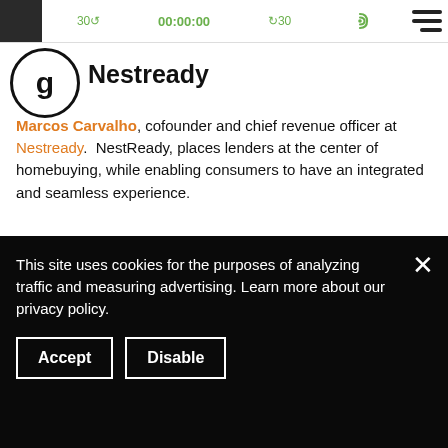[Figure (screenshot): Top audio player bar with podcast thumbnail, rewind 30, 00:00:00 timer, forward 30 controls in green, and wifi/cast icon]
[Figure (logo): Circular logo with letter g inside]
Nestready
Marcos Carvalho, cofounder and chief revenue officer at Nestready. NestReady, places lenders at the center of homebuying, while enabling consumers to have an integrated and seamless experience.
[Figure (screenshot): Bank On It Podcast player widget showing thumbnail, play button, episode title Marcos_Carvalho_from_NestReady.w, and player controls: 30 rewind, 00:00:00, forward 30, cast icon]
This site uses cookies for the purposes of analyzing traffic and measuring advertising. Learn more about our privacy policy.
Accept    Disable